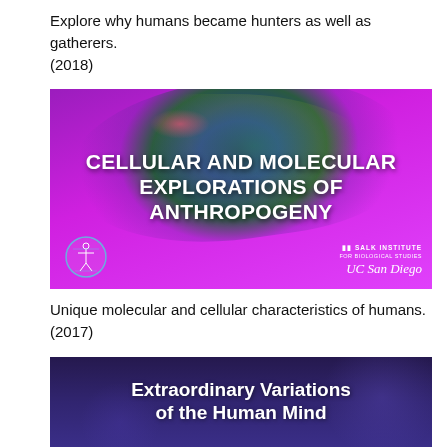Explore why humans became hunters as well as gatherers. (2018)
[Figure (illustration): Promotional banner for 'Cellular and Molecular Explorations of Anthropogeny' showing fluorescence microscopy image of cellular tissue in blue, green, and magenta with logos for Salk Institute and UC San Diego]
Unique molecular and cellular characteristics of humans. (2017)
[Figure (illustration): Promotional banner for 'Extraordinary Variations of the Human Mind' on a dark purple/navy background with white bold text]